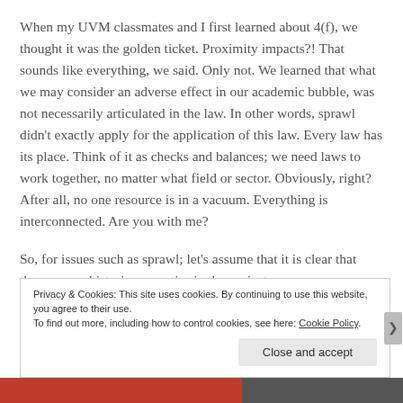When my UVM classmates and I first learned about 4(f), we thought it was the golden ticket. Proximity impacts?! That sounds like everything, we said. Only not. We learned that what we may consider an adverse effect in our academic bubble, was not necessarily articulated in the law. In other words, sprawl didn’t exactly apply for the application of this law. Every law has its place. Think of it as checks and balances; we need laws to work together, no matter what field or sector. Obviously, right? After all, no one resource is in a vacuum. Everything is interconnected. Are you with me?
So, for issues such as sprawl; let’s assume that it is clear that there are no historic properties in the project area.
Privacy & Cookies: This site uses cookies. By continuing to use this website, you agree to their use.
To find out more, including how to control cookies, see here: Cookie Policy